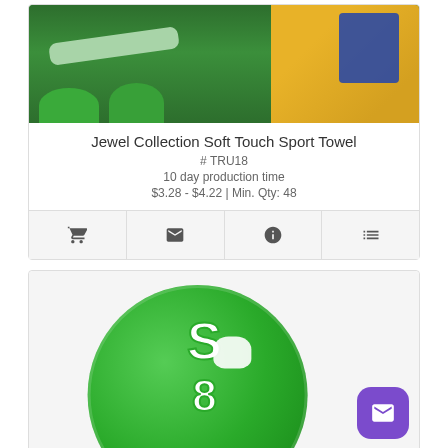[Figure (photo): Close-up photo of green stadium seats with a yellow towel featuring a blue mascot logo hanging over the seat back.]
Jewel Collection Soft Touch Sport Towel
# TRU18
10 day production time
$3.28 - $4.22 | Min. Qty: 48
[Figure (photo): Green frisbee disc with a white S8 wolf mascot logo printed on it, partially visible at bottom of page.]